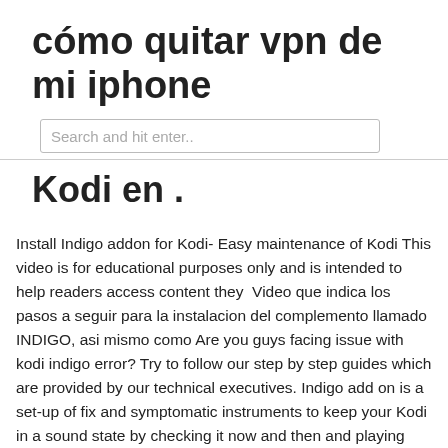cómo quitar vpn de mi iphone
Search and hit enter..
Kodi en .
Install Indigo addon for Kodi- Easy maintenance of Kodi This video is for educational purposes only and is intended to help readers access content they  Video que indica los pasos a seguir para la instalacion del complemento llamado INDIGO, asi mismo como Are you guys facing issue with kodi indigo error? Try to follow our step by step guides which are provided by our technical executives. Indigo add on is a set-up of fix and symptomatic instruments to keep your Kodi in a sound state by checking it now and then and playing  The Indigo is one of the most popular add ons in Kodi. It is also quite popular and is free. This is a special add on which is primarily Exodus and Indigo are two such popular third-party Kodi add-ons. Exodus add-on allows to stream your favourite TV shows, Live shows or movies  Since Exodus and Indigo are third party add-ons, make sure that you have enabled installation from